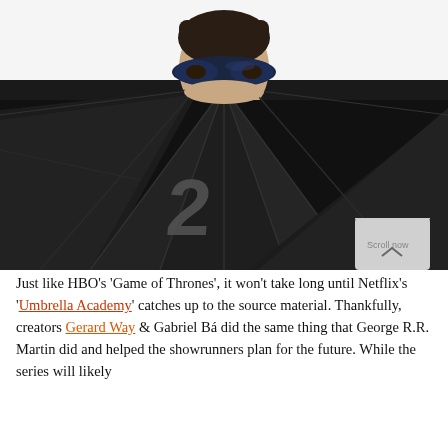[Figure (photo): A masked person (wearing a dark superhero-style mask) peeks over large open black umbrellas. One umbrella has the number '2' printed on it in grey. The background is white/light. The scene is dark and dramatic.]
Just like HBO's 'Game of Thrones', it won't take long until Netflix's 'Umbrella Academy' catches up to the source material. Thankfully, creators Gerard Way & Gabriel Bá did the same thing that George R.R. Martin did and helped the showrunners plan for the future. While the series will likely stay a hit for a long time, maybe in the meantime it would